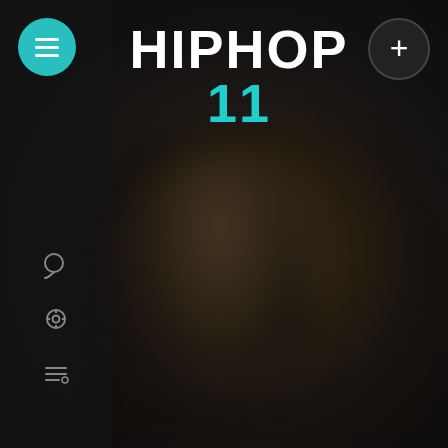[Figure (screenshot): Dark music app interface showing HIPHOP 11 playlist/station screen with a blurred background figure, teal circular menu button top-left, dark plus button top-right, and three sidebar icons at bottom-left]
HIPHOP 11